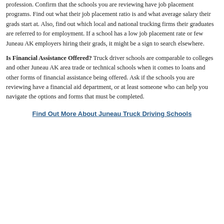profession. Confirm that the schools you are reviewing have job placement programs. Find out what their job placement ratio is and what average salary their grads start at. Also, find out which local and national trucking firms their graduates are referred to for employment. If a school has a low job placement rate or few Juneau AK employers hiring their grads, it might be a sign to search elsewhere.
Is Financial Assistance Offered? Truck driver schools are comparable to colleges and other Juneau AK area trade or technical schools when it comes to loans and other forms of financial assistance being offered. Ask if the schools you are reviewing have a financial aid department, or at least someone who can help you navigate the options and forms that must be completed.
Find Out More About Juneau Truck Driving Schools